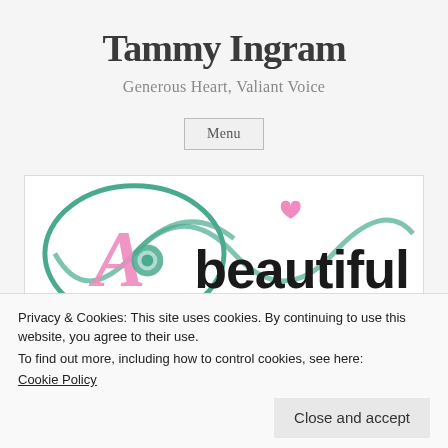Tammy Ingram
Generous Heart, Valiant Voice
Menu
[Figure (logo): A beautiful (life) logo with stylized pink letter A, teal swirl/infinity design, and bold black text 'beautiful' with a small pink heart above the 'u']
Privacy & Cookies: This site uses cookies. By continuing to use this website, you agree to their use.
To find out more, including how to control cookies, see here:
Cookie Policy
Close and accept